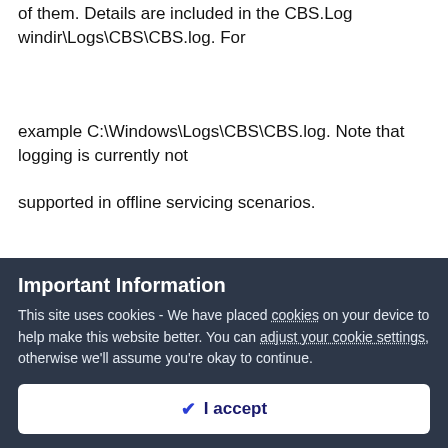of them. Details are included in the CBS.Log windir\Logs\CBS\CBS.log. For
example C:\Windows\Logs\CBS\CBS.log. Note that logging is currently not
supported in offline servicing scenarios.
C:\WINDOWS\system32>sc start WinDefend Enable
[sC] StartService FAILED 577:
Important Information
This site uses cookies - We have placed cookies on your device to help make this website better. You can adjust your cookie settings, otherwise we'll assume you're okay to continue.
I accept